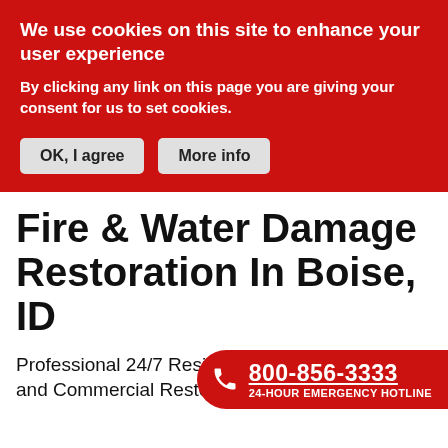We use cookies on this site to enhance your user experience
By clicking any link on this page you are giving your consent for us to set cookies.
OK, I agree  |  More info
Fire & Water Damage Restoration In Boise, ID
Professional 24/7 Residential and Commercial Restoration
800-856-3333
24-HOUR EMERGENCY HOTLINE
BELFOR Boise COVID-19 Cleaning Services
BELFOR Boise provides emergency property